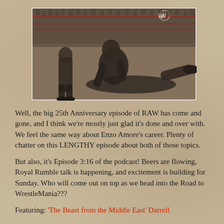[Figure (photo): Black and white / sepia-toned photograph of a WWE wrestling match, showing a wrestler pinning another to the mat inside a wrestling ring, with a crowd in the background. The image has a slightly worn, vintage border effect.]
Well, the big 25th Anniversary episode of RAW has come and gone, and I think we're mostly just glad it's done and over with. We feel the same way about Enzo Amore's career. Plenty of chatter on this LENGTHY episode about both of those topics.
But also, it's Episode 3:16 of the podcast! Beers are flowing, Royal Rumble talk is happening, and excitement is building for Sunday. Who will come out on top as we head into the Road to WrestleMania???
Featuring: 'The Beast from the Middle East' Darrell